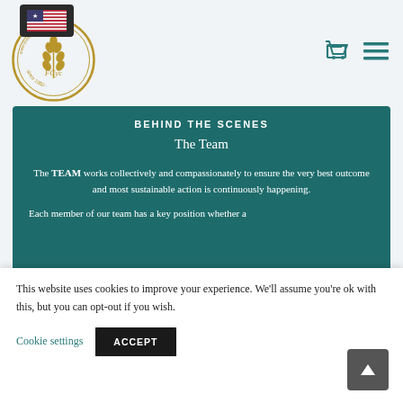[Figure (logo): Circular gold logo with wheat/grain motif and text around the border reading 'since 1950', with a US flag overlay box in dark background at top-left]
[Figure (other): Navigation icons: shopping cart and hamburger menu in teal color]
BEHIND THE SCENES
The Team
The TEAM works collectively and compassionately to ensure the very best outcome and most sustainable action is continuously happening.
Each member of our team has a key position whether a
This website uses cookies to improve your experience. We'll assume you're ok with this, but you can opt-out if you wish.
Cookie settings
ACCEPT